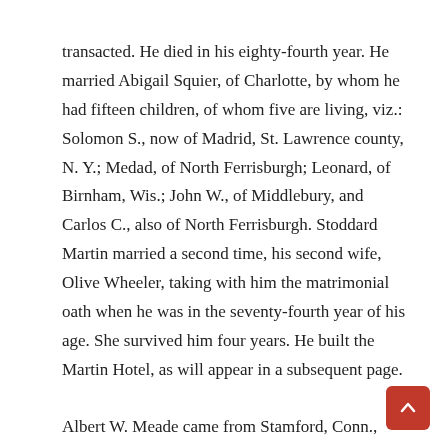transacted. He died in his eighty-fourth year. He married Abigail Squier, of Charlotte, by whom he had fifteen children, of whom five are living, viz.: Solomon S., now of Madrid, St. Lawrence county, N. Y.; Medad, of North Ferrisburgh; Leonard, of Birnham, Wis.; John W., of Middlebury, and Carlos C., also of North Ferrisburgh. Stoddard Martin married a second time, his second wife, Olive Wheeler, taking with him the matrimonial oath when he was in the seventy-fourth year of his age. She survived him four years. He built the Martin Hotel, as will appear in a subsequent page.
Albert W. Meade came from Stamford, Conn., and settled on the farm now owned by his son Albert W., jr. He was a